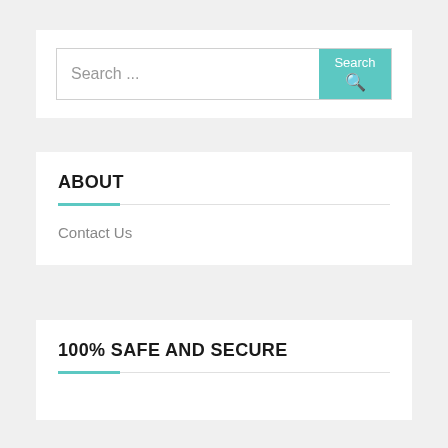[Figure (screenshot): Search bar with teal Search button containing a magnifying glass icon]
ABOUT
Contact Us
100% SAFE AND SECURE